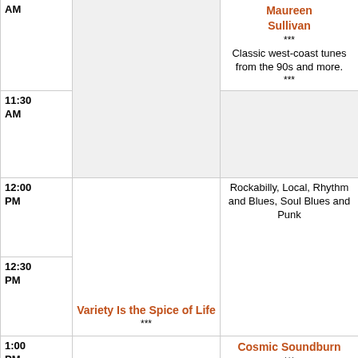| Time | Program | Program |
| --- | --- | --- |
| AM | (gray - continued) | Maureen Sullivan
***
Classic west-coast tunes from the 90s and more.
*** |
| 11:30 AM | (gray - continued) |  |
| 12:00 PM |  | Rockabilly, Local, Rhythm and Blues, Soul Blues and Punk |
| 12:30 PM | Variety Is the Spice of Life
*** |  |
| 1:00 PM |  | Cosmic Soundburn
*** |
| 1:30 PM | Christine Moritz
*** | Chris Dahlberg
*** |
| (continued) | Classic west-coast tunes from the 90s and more. | Classic... |